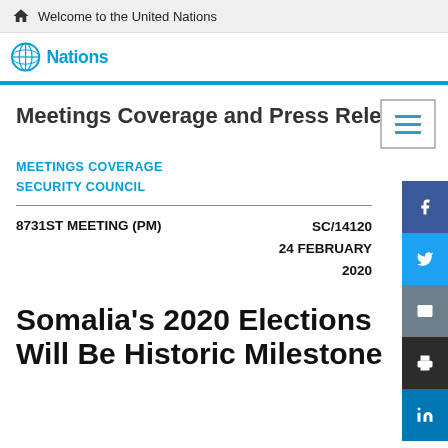Welcome to the United Nations
[Figure (logo): United Nations logo and partial wordmark banner strip]
Meetings Coverage and Press Releases
MEETINGS COVERAGE
SECURITY COUNCIL
8731ST MEETING (PM)    SC/14120
24 FEBRUARY
2020
Somalia's 2020 Elections Will Be Historic Milestone